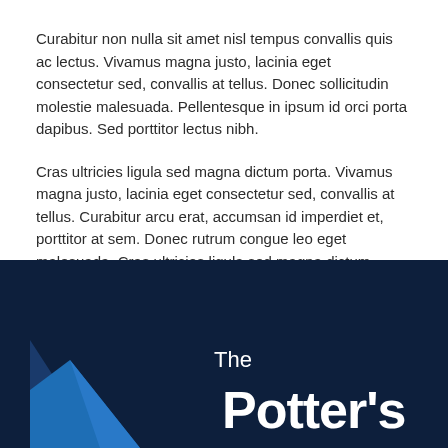Curabitur non nulla sit amet nisl tempus convallis quis ac lectus. Vivamus magna justo, lacinia eget consectetur sed, convallis at tellus. Donec sollicitudin molestie malesuada. Pellentesque in ipsum id orci porta dapibus. Sed porttitor lectus nibh.
Cras ultricies ligula sed magna dictum porta. Vivamus magna justo, lacinia eget consectetur sed, convallis at tellus. Curabitur arcu erat, accumsan id imperdiet et, porttitor at sem. Donec rutrum congue leo eget malesuada. Cras ultricies ligula sed magna dictum porta.
[Figure (logo): Dark navy blue footer section with a logo area. Contains the text 'The' above 'Potter's' in large bold white font, with a blue angular arrow/chevron shape on the left side.]